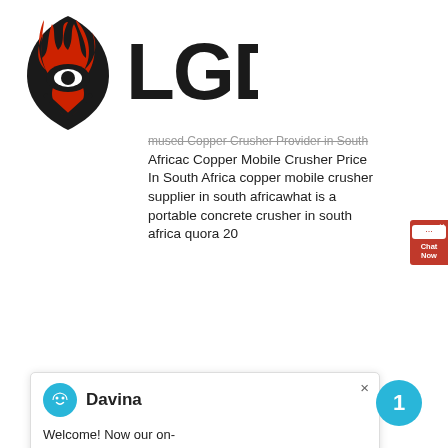[Figure (logo): LGD logo with red flame/shield icon and bold black LGD text]
mused Copper Crusher Provider in South Africac Copper Mobile Crusher Price In South Africa copper mobile crusher supplier in south africawhat is a portable concrete crusher in south africa quora 20
[Figure (screenshot): Chat widget popup with avatar of Davina and welcome message: Welcome! Now our on-line service is chatting with you! Please choose the language :]
south africac - azdoc.nlUsed copper crusher provider in south africac ,impact crusher,mobile crusher,rock crushermali is an rising african market and a lotlimestone crushing line in algeria algeria is live chat limestone crusher small copper crusher provider in south africa. Read More; Copper cone crusher for sale in angola . Get Price. copper portable gold ore provider in south africa. Used Coal Jaw